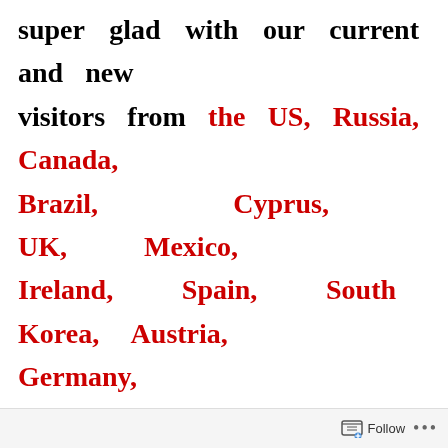super glad with our current and new visitors from the US, Russia, Canada, Brazil, Cyprus, UK, Mexico, Ireland, Spain, South Korea, Austria, Germany, Netherlands, Iceland, Romania, n Japan 😉
Dear 1Zumba friend, it is time to bury the hatchet, I assure you I can help in this matter. Instead of waiting longer than that, and accumulating those undesirable feelings…
Follow ···